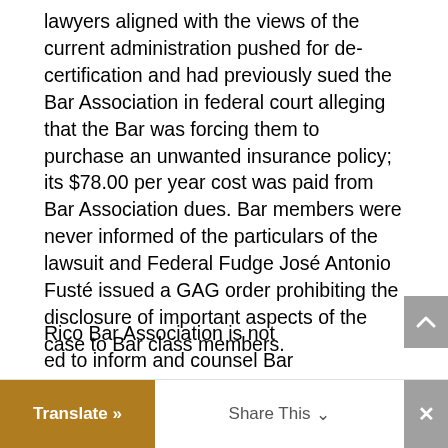lawyers aligned with the views of the current administration pushed for de-certification and had previously sued the Bar Association in federal court alleging that the Bar was forcing them to purchase an unwanted insurance policy; its $78.00 per year cost was paid from Bar Association dues. Bar members were never informed of the particulars of the lawsuit and Federal Fudge José Antonio Fusté issued a GAG order prohibiting the disclosure of important aspects of the case to Bar class members.
Rico Bar Association is not ed to inform and counsel Bar